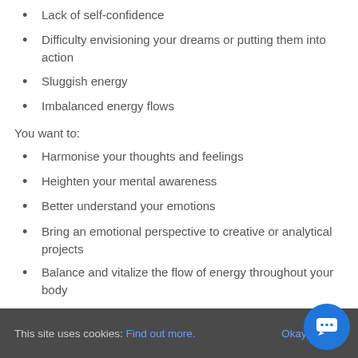Lack of self-confidence
Difficulty envisioning your dreams or putting them into action
Sluggish energy
Imbalanced energy flows
You want to:
Harmonise your thoughts and feelings
Heighten your mental awareness
Better understand your emotions
Bring an emotional perspective to creative or analytical projects
Balance and vitalize the flow of energy throughout your body
Feel more empowered and cultivates a more fearless
This site uses cookies: Find out more.  Okay, thanks